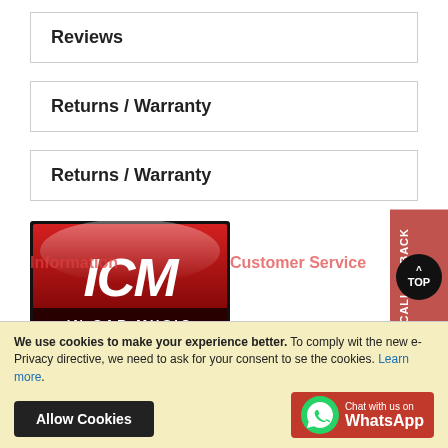Reviews
Returns / Warranty
Returns / Warranty
[Figure (logo): ICM In Car Music logo — red glossy background with white bold ICM text and 'IN CAR MUSIC' subtitle in white on dark band]
We use cookies to make your experience better. To comply with the new e-Privacy directive, we need to ask for your consent to set the cookies. Learn more.
Allow Cookies